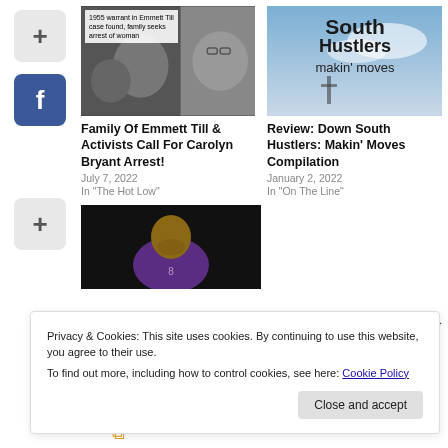[Figure (screenshot): Social media share buttons sidebar: plus (+) button, Facebook (f) button, and another (+) button]
[Figure (photo): Article card image: 1955 warrant in Emmett Till case found, family seeks arrest of woman - black and white historical photo with news overlay and photo of a man]
Family Of Emmett Till & Activists Call For Carolyn Bryant Arrest!
July 7, 2022
In "The Hot Low"
[Figure (photo): Article card image: Down South Hustlers Makin' Moves album cover with text on sky background]
Review: Down South Hustlers: Makin' Moves Compilation
January 2, 2022
In "On The Line"
[Figure (photo): Article card image: basketball player in purple jersey looking down]
Privacy & Cookies: This site uses cookies. By continuing to use this website, you agree to their use.
To find out more, including how to control cookies, see here: Cookie Policy
Close and accept